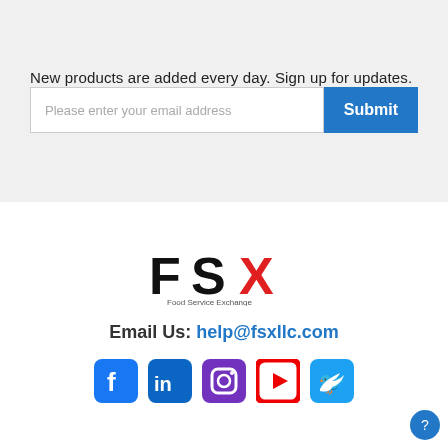New products are added every day. Sign up for updates.
Please enter your email address
[Figure (logo): FSX Food Service Exchange logo with red X letter]
Email Us: help@fsxllc.com
[Figure (infographic): Social media icons: Facebook, LinkedIn, Instagram, YouTube, Twitter]